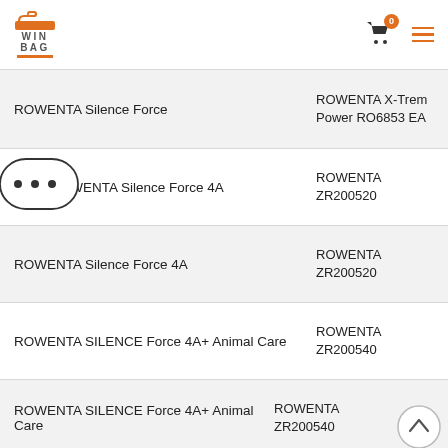WIN BAG — shopping site header with cart (0) and menu
ROWENTA Silence Force | ROWENTA X-Trem Power RO6853 EA
ROWENTA Silence Force 4A | ROWENTA ZR200520
ROWENTA Silence Force 4A | ROWENTA ZR200520
ROWENTA SILENCE Force 4A+ Animal Care | ROWENTA ZR200540
ROWENTA SILENCE Force 4A+ Animal Care | ROWENTA ZR200540